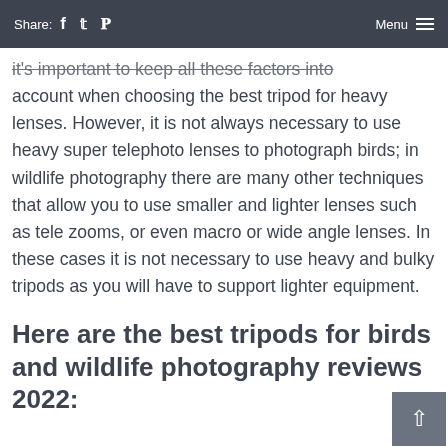Share: f t p   Menu ≡
it's important to keep all these factors into account when choosing the best tripod for heavy lenses. However, it is not always necessary to use heavy super telephoto lenses to photograph birds; in wildlife photography there are many other techniques that allow you to use smaller and lighter lenses such as tele zooms, or even macro or wide angle lenses. In these cases it is not necessary to use heavy and bulky tripods as you will have to support lighter equipment.
Here are the best tripods for birds and wildlife photography reviews 2022: